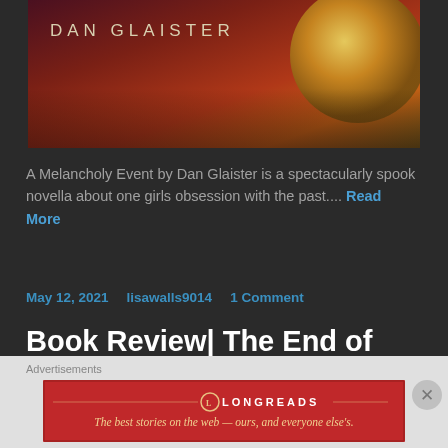[Figure (photo): Book cover for 'A Melancholy Event' by Dan Glaister — dark red/maroon gradient background with a glowing orb on the right side, author name 'DAN GLAISTER' in light text at top left]
A Melancholy Event by Dan Glaister is a spectacularly spook novella about one girls obsession with the past.... Read More
May 12, 2021   lisawalls9014   1 Comment
Book Review| The End of Men by Christina Sweeney Baird
Advertisements
[Figure (other): Longreads advertisement banner — red background with Longreads logo and tagline 'The best stories on the web — ours, and everyone else's.']